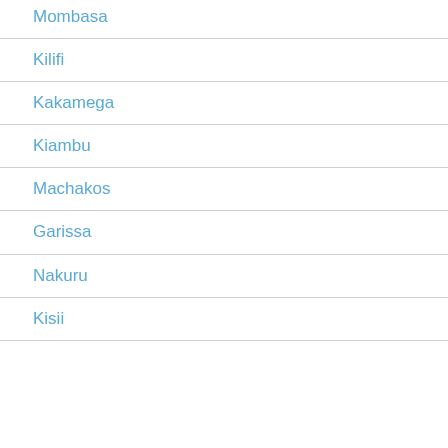Mombasa
Kilifi
Kakamega
Kiambu
Machakos
Garissa
Nakuru
Kisii